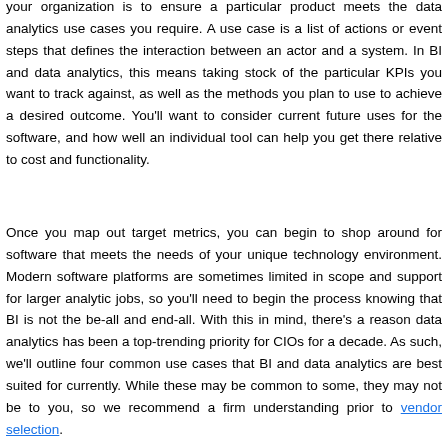your organization is to ensure a particular product meets the data analytics use cases you require. A use case is a list of actions or event steps that defines the interaction between an actor and a system. In BI and data analytics, this means taking stock of the particular KPIs you want to track against, as well as the methods you plan to use to achieve a desired outcome. You'll want to consider current future uses for the software, and how well an individual tool can help you get there relative to cost and functionality.
Once you map out target metrics, you can begin to shop around for software that meets the needs of your unique technology environment. Modern software platforms are sometimes limited in scope and support for larger analytic jobs, so you'll need to begin the process knowing that BI is not the be-all and end-all. With this in mind, there's a reason data analytics has been a top-trending priority for CIOs for a decade. As such, we'll outline four common use cases that BI and data analytics are best suited for currently. While these may be common to some, they may not be to you, so we recommend a firm understanding prior to vendor selection.